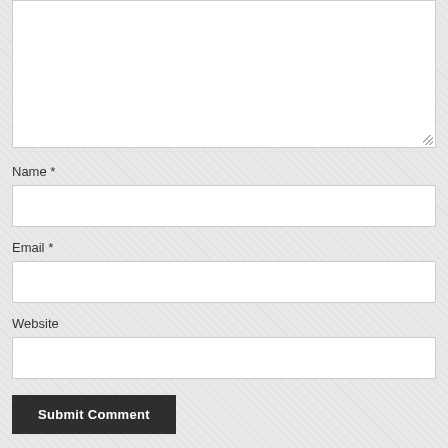[Figure (screenshot): Large textarea input box for comment text, partially visible at top of page, with white background and light gray border]
Name *
[Figure (screenshot): Text input field for Name, white background with light gray border]
Email *
[Figure (screenshot): Text input field for Email, white background with light gray border]
Website
[Figure (screenshot): Text input field for Website, white background with light gray border]
Submit Comment